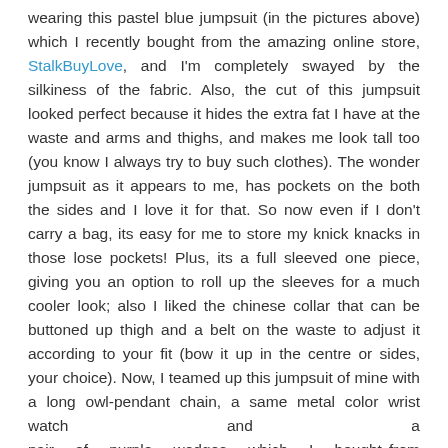wearing this pastel blue jumpsuit (in the pictures above) which I recently bought from the amazing online store, StalkBuyLove, and I'm completely swayed by the silkiness of the fabric. Also, the cut of this jumpsuit looked perfect because it hides the extra fat I have at the waste and arms and thighs, and makes me look tall too (you know I always try to buy such clothes). The wonder jumpsuit as it appears to me, has pockets on the both the sides and I love it for that. So now even if I don't carry a bag, its easy for me to store my knick knacks in those lose pockets! Plus, its a full sleeved one piece, giving you an option to roll up the sleeves for a much cooler look; also I liked the chinese collar that can be buttoned up thigh and a belt on the waste to adjust it according to your fit (bow it up in the centre or sides, your choice). Now, I teamed up this jumpsuit of mine with a long owl-pendant chain, a same metal color wrist watch and a pair of purple wedges which I bought from Limeroad.com and that went nicely with the whole look. Since it was a sunny day I wanted to try on my new pair of mirror sunglasses, so I put them on too and to be true it went quite well with the attire. Not forgetting the bag which I again got from the super new collection of StalkBuyLove, this